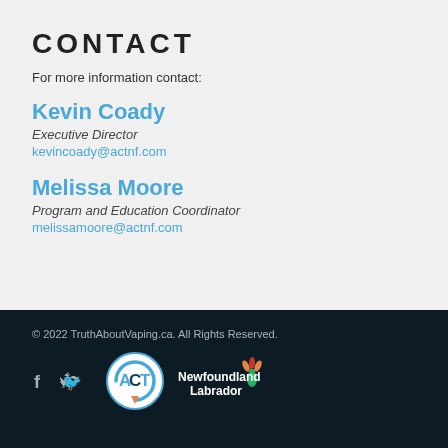CONTACT
For more information contact:
Kevin Coady
Executive Director
kevincoady@actnf.com
Melissa Moore
Program and Education Coordinator
melissamoore@actnf.com
© 2022 TruthAboutVaping.ca. All Rights Reserved.
[Figure (logo): ACT logo (circular, blue arrow with ACT text) and Newfoundland Labrador government logo with flower icon, alongside Facebook and Twitter social media icons]